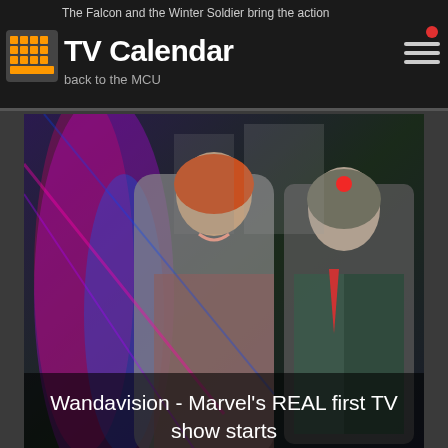TV Calendar — The Falcon and the Winter Soldier bring the action back to the MCU
[Figure (photo): WandaVision promotional image showing Wanda and Vision in colorful psychedelic style]
Wandavision - Marvel's REAL first TV show starts today on Disney+
Recently Watched
Kleo — S01E01 : Episode 1 — 10 seconds ago
Better Call Saul — S06E13 : Saul Gone — 2 minutes ago